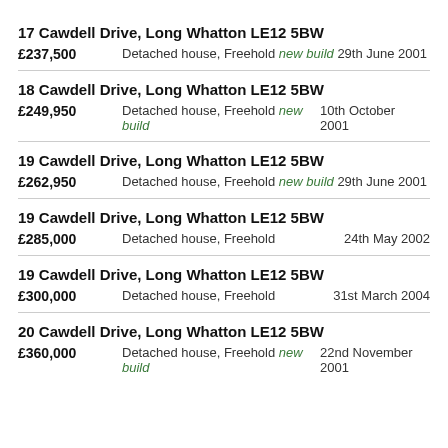17 Cawdell Drive, Long Whatton LE12 5BW
£237,500    Detached house, Freehold new build 29th June 2001
18 Cawdell Drive, Long Whatton LE12 5BW
£249,950    Detached house, Freehold new build 10th October 2001
19 Cawdell Drive, Long Whatton LE12 5BW
£262,950    Detached house, Freehold new build 29th June 2001
19 Cawdell Drive, Long Whatton LE12 5BW
£285,000    Detached house, Freehold    24th May 2002
19 Cawdell Drive, Long Whatton LE12 5BW
£300,000    Detached house, Freehold    31st March 2004
20 Cawdell Drive, Long Whatton LE12 5BW
£360,000    Detached house, Freehold new build    22nd November 2001